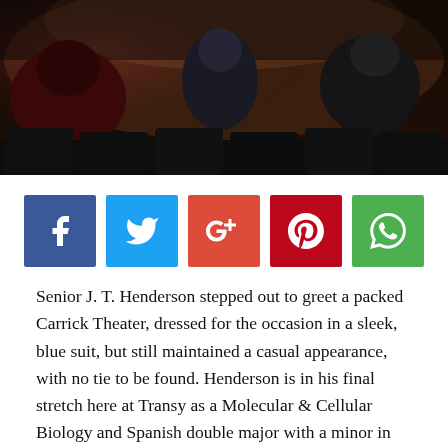[Figure (photo): Dark photo of theater seats from behind, showing the backs of audience members seated in dark chairs against a warm-toned background stage area.]
[Figure (infographic): Row of five social media share buttons: Facebook (blue), Twitter (light blue), Google+ (red-orange), Pinterest (dark red), WhatsApp (green)]
Senior J. T. Henderson stepped out to greet a packed Carrick Theater, dressed for the occasion in a sleek, blue suit, but still maintained a casual appearance, with no tie to be found. Henderson is in his final stretch here at Transy as a Molecular & Cellular Biology and Spanish double major with a minor in Music. He plans to further his education by attending medical school where he wants to get a degree in both public health and medicine.